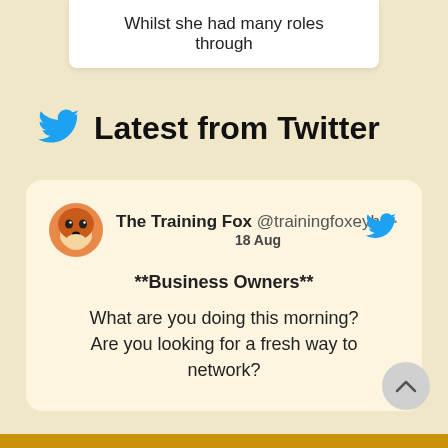Whilst she had many roles through
Latest from Twitter
The Training Fox @trainingfoxeyhs · 18 Aug
**Business Owners**
What are you doing this morning? Are you looking for a fresh way to network?